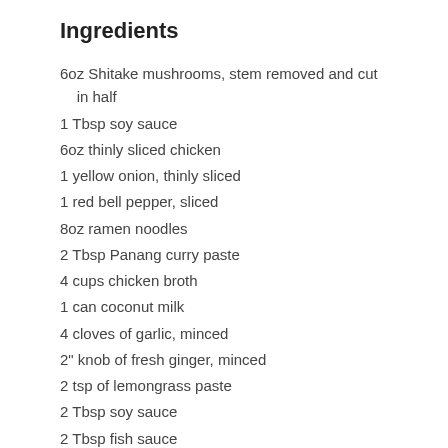Ingredients
6oz Shitake mushrooms, stem removed and cut in half
1 Tbsp soy sauce
6oz thinly sliced chicken
1 yellow onion, thinly sliced
1 red bell pepper, sliced
8oz ramen noodles
2 Tbsp Panang curry paste
4 cups chicken broth
1 can coconut milk
4 cloves of garlic, minced
2" knob of fresh ginger, minced
2 tsp of lemongrass paste
2 Tbsp soy sauce
2 Tbsp fish sauce
canola oil